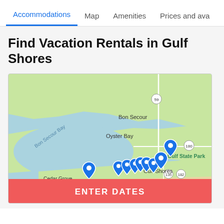Accommodations | Map | Amenities | Prices and availability
Find Vacation Rentals in Gulf Shores
[Figure (map): Map of Gulf Shores, Alabama area showing Bon Secour Bay, Oyster Bay, Cedar Grove, Bon Secour, Gulf Shores city, Gulf State Park, with multiple blue map pin markers along the coast and an 'ENTER DATES' red button at the bottom.]